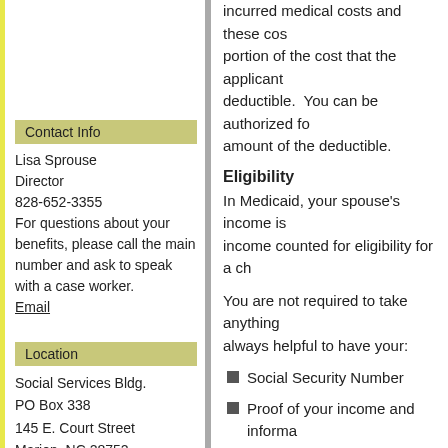incurred medical costs and these costs... portion of the cost that the applicant... deductible. You can be authorized fo... amount of the deductible.
Eligibility
In Medicaid, your spouse's income is... income counted for eligibility for a ch...
You are not required to take anything... always helpful to have your:
Social Security Number
Proof of your income and informa... policies.
Tax records if you are self-employ...
Medicare Savings Programs
If you income exceeds all of the prog... a deductible, and you have Medicare... Medicare Savings Programs. These... monthly premiums.
Contact Info
Lisa Sprouse
Director
828-652-3355
For questions about your benefits, please call the main number and ask to speak with a case worker.
Email
Location
Social Services Bldg.
PO Box 338
145 E. Court Street
Marion, NC 28752
Google Map
Hours